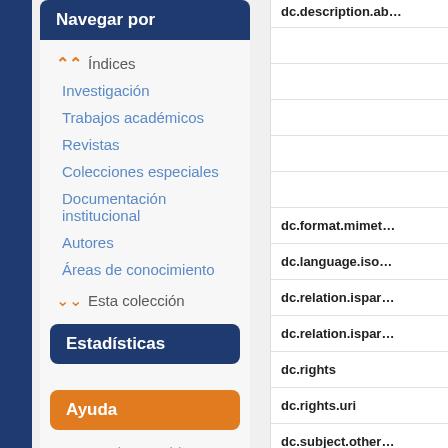Navegar por
Índices
Investigación
Trabajos académicos
Revistas
Colecciones especiales
Documentación institucional
Autores
Áreas de conocimiento
Esta colección
Estadísticas
Ver Estadísticas de uso
Ayuda
Acerca de e-Archivo
| Field |
| --- |
| dc.description.ab… |
| dc.format.mimet… |
| dc.language.iso… |
| dc.relation.ispar… |
| dc.relation.ispar… |
| dc.rights |
| dc.rights.uri |
| dc.subject.other… |